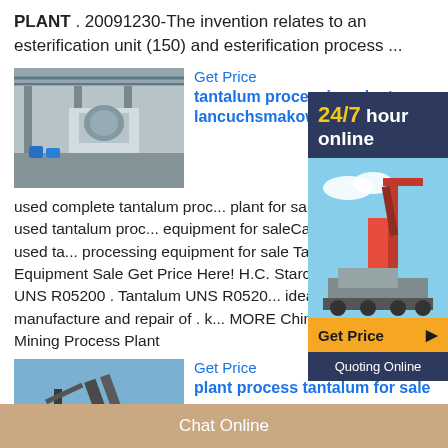PLANT . 20091230-The invention relates to an esterification unit (150) and esterification process ...
[Figure (photo): Industrial plant interior with machinery and equipment]
Get Price
tantalum processing plant - lancuchsmakow.pl
used complete tantalum processing plant for sale Xinhai Mining. used tantalum processing equipment for saleCathay Corporation. used tantalum processing equipment for sale Tantalum Ironic R... Equipment Sale Get Price Here! H.C. Starck NR... Tantalum UNS R05200 . Tantalum UNS R05200... ideal for use in the manufacture and repair of . k... MORE China Small Scale Mining Process Plant
[Figure (photo): 24/7 hour online advertisement with mining equipment image, Get Price and Quoting Online buttons]
[Figure (photo): Outdoor mining conveyor and equipment scene]
Get Price
plant process tantalum for sale
plant process tantalum for sale
Chat Online